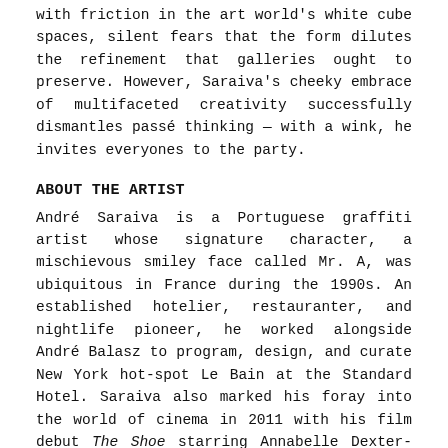with friction in the art world's white cube spaces, silent fears that the form dilutes the refinement that galleries ought to preserve. However, Saraiva's cheeky embrace of multifaceted creativity successfully dismantles passé thinking — with a wink, he invites everyones to the party.
ABOUT THE ARTIST
André Saraiva is a Portuguese graffiti artist whose signature character, a mischievous smiley face called Mr. A, was ubiquitous in France during the 1990s. An established hotelier, restauranter, and nightlife pioneer, he worked alongside André Balasz to program, design, and curate New York hot-spot Le Bain at the Standard Hotel. Saraiva also marked his foray into the world of cinema in 2011 with his film debut The Shoe starring Annabelle Dexter-Jones and Leo Fitzpatrick, as well as later making an appearance in art documentary Exit Through the Gift Shop. In 2012 Saraiva had his first New